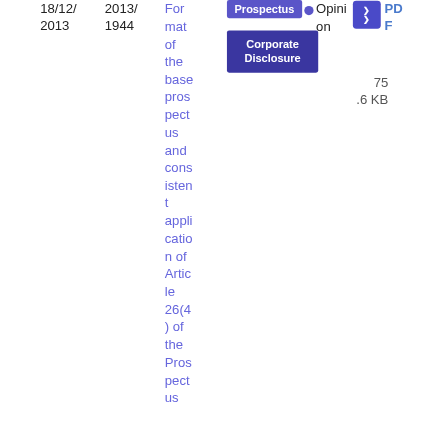18/12/2013
2013/1944
Format of the base prospectus and consistent application of Article 26(4) of the Prospectus
Prospectus
Corporate Disclosure
Opinion
75.6 KB